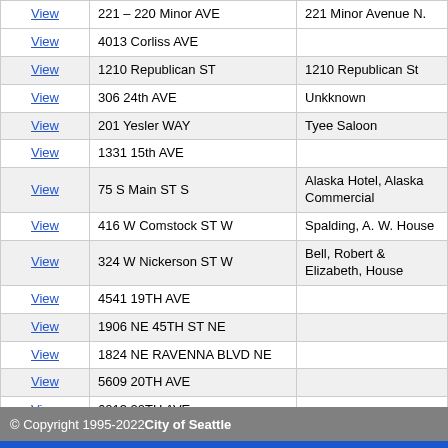|  | Address | Name |
| --- | --- | --- |
| View | 221 - 220 Minor AVE | 221 Minor Avenue N. |
| View | 4013 Corliss AVE |  |
| View | 1210 Republican ST | 1210 Republican St |
| View | 306 24th AVE | Unkknown |
| View | 201 Yesler WAY | Tyee Saloon |
| View | 1331 15th AVE |  |
| View | 75 S Main ST S | Alaska Hotel, Alaska Commercial |
| View | 416 W Comstock ST W | Spalding, A. W. House |
| View | 324 W Nickerson ST W | Bell, Robert & Elizabeth, House |
| View | 4541 19TH AVE |  |
| View | 1906 NE 45TH ST NE |  |
| View | 1824 NE RAVENNA BLVD NE |  |
| View | 5609 20TH AVE |  |
| View | 6013 20TH AVE |  |
© Copyright 1995-2022 City of Seattle